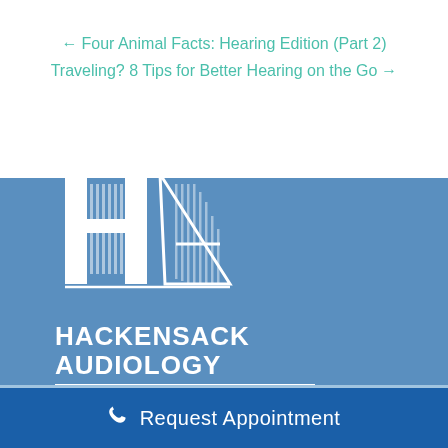← Four Animal Facts: Hearing Edition (Part 2)
Traveling? 8 Tips for Better Hearing on the Go →
[Figure (logo): Hackensack Audiology & Hearing Aid Associates logo with stylized HA lettermark in white on blue background]
Request Appointment